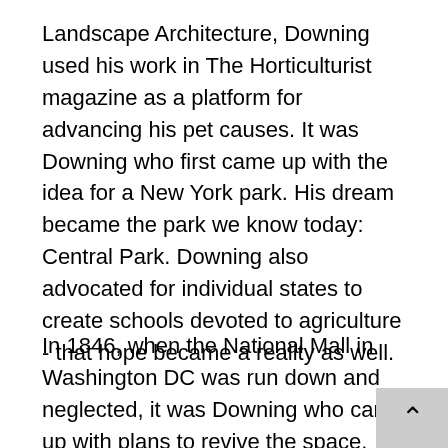Landscape Architecture, Downing used his work in The Horticulturist magazine as a platform for advancing his pet causes. It was Downing who first came up with the idea for a New York park. His dream became the park we know today: Central Park. Downing also advocated for individual states to create schools devoted to agriculture - that hope became a reality as well.
In 1846, when the National Mall in Washington DC was run down and neglected, it was Downing who came up with plans to revive the space. Downing's plans were in vivid contrast to the original plans for the mall. When the Frenchman Pierre Charles L'Enfant